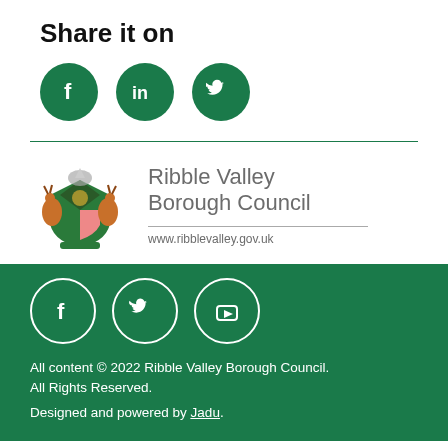Share it on
[Figure (illustration): Three green circular social media icons: Facebook (f), LinkedIn (in), Twitter (bird)]
[Figure (logo): Ribble Valley Borough Council coat of arms logo with council name and website www.ribblevalley.gov.uk]
All content © 2022 Ribble Valley Borough Council. All Rights Reserved. Designed and powered by Jadu.